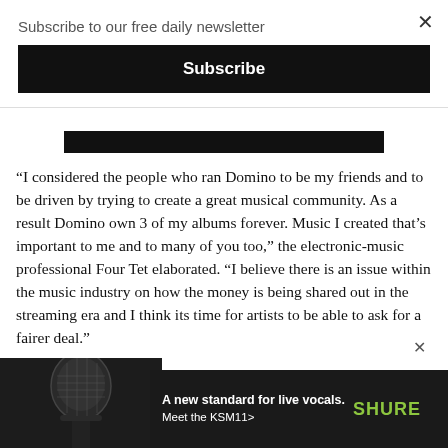Subscribe to our free daily newsletter
Subscribe
“I considered the people who ran Domino to be my friends and to be driven by trying to create a great musical community. As a result Domino own 3 of my albums forever. Music I created that’s important to me and to many of you too,” the electronic-music professional Four Tet elaborated. “I believe there is an issue within the music industry on how the money is being shared out in the streaming era and I think its time for artists to be able to ask for a fairer deal.”
A UK judge in late December of 2021 gave Four Tet the green light to pursue the action, and the artist – who released Pause via Dom... in 2001 ... that the ... ould make its...
[Figure (screenshot): Advertisement overlay: microphone image on left, dark background ad reading 'A new standard for live vocals. Meet the KSM11>' with SHURE logo in green on right side.]